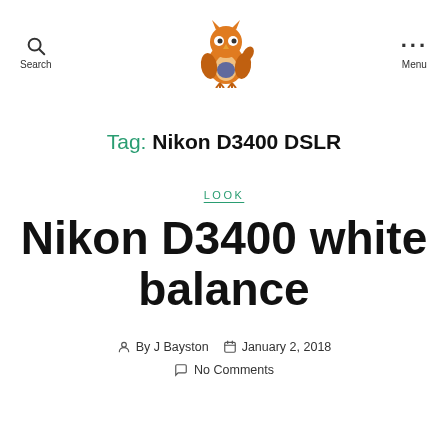Search | [Owl logo] | Menu
Tag: Nikon D3400 DSLR
LOOK
Nikon D3400 white balance
By J Bayston  January 2, 2018  No Comments